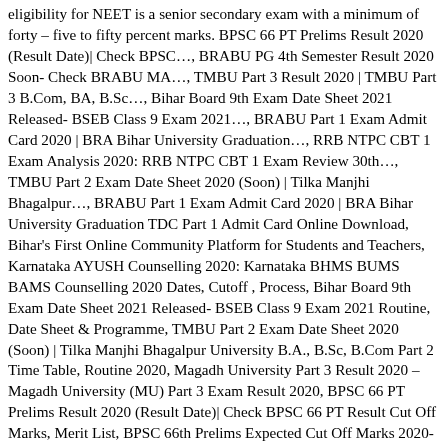eligibility for NEET is a senior secondary exam with a minimum of forty – five to fifty percent marks. BPSC 66 PT Prelims Result 2020 (Result Date)| Check BPSC…, BRABU PG 4th Semester Result 2020 Soon- Check BRABU MA…, TMBU Part 3 Result 2020 | TMBU Part 3 B.Com, BA, B.Sc…, Bihar Board 9th Exam Date Sheet 2021 Released- BSEB Class 9 Exam 2021…, BRABU Part 1 Exam Admit Card 2020 | BRA Bihar University Graduation…, RRB NTPC CBT 1 Exam Analysis 2020: RRB NTPC CBT 1 Exam Review 30th…, TMBU Part 2 Exam Date Sheet 2020 (Soon) | Tilka Manjhi Bhagalpur…, BRABU Part 1 Exam Admit Card 2020 | BRA Bihar University Graduation TDC Part 1 Admit Card Online Download, Bihar's First Online Community Platform for Students and Teachers, Karnataka AYUSH Counselling 2020: Karnataka BHMS BUMS BAMS Counselling 2020 Dates, Cutoff , Process, Bihar Board 9th Exam Date Sheet 2021 Released- BSEB Class 9 Exam 2021 Routine, Date Sheet & Programme, TMBU Part 2 Exam Date Sheet 2020 (Soon) | Tilka Manjhi Bhagalpur University B.A., B.Sc, B.Com Part 2 Time Table, Routine 2020, Magadh University Part 3 Result 2020 – Magadh University (MU) Part 3 Exam Result 2020, BPSC 66 PT Prelims Result 2020 (Result Date)| Check BPSC 66 PT Result Cut Off Marks, Merit List, BPSC 66th Prelims Expected Cut Off Marks 2020- BPSC Prelims Previous Year's Category- Wise Cut Off (Up to 65th BPSC), BPSC 66th Prelims PT Answer Key 2020 Updating : BPSC 66th PT Exam Answer Key 2020 (Set A, B, C, D) with Question Paper, LNMU Part 1 Exam Date Sheet 2020 Released| LNMU UG Part 1 Exam 2020 Routine, Time Table, Schedule ( 2019-22) Session, BRABU PG 4th Semester Result 2020 Soon- Check BRABU MA MSC MCOM 2nd Year Final Semester 2019-20 Result, The Committee will conduct the AYUSH…